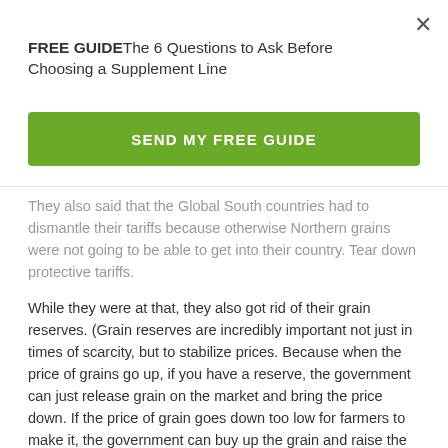FREE GUIDE The 6 Questions to Ask Before Choosing a Supplement Line
SEND MY FREE GUIDE
They also said that the Global South countries had to dismantle their tariffs because otherwise Northern grains were not going to be able to get into their country. Tear down protective tariffs.
While they were at that, they also got rid of their grain reserves. (Grain reserves are incredibly important not just in times of scarcity, but to stabilize prices. Because when the price of grains go up, if you have a reserve, the government can just release grain on the market and bring the price down. If the price of grain goes down too low for farmers to make it, the government can buy up the grain and raise the price.) If you get rid of your grain reserves you have no control over price. No control over the market. But that is precisely what the Global North, more particularly; the World Bank and IMF wanted the Global South to depend on the global market. Not on their own markets.